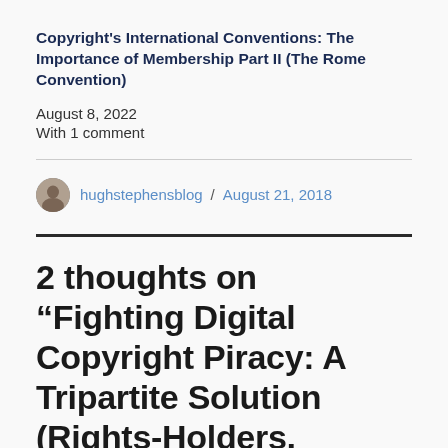Copyright's International Conventions: The Importance of Membership Part II (The Rome Convention)
August 8, 2022
With 1 comment
hughstephensblog / August 21, 2018
2 thoughts on “Fighting Digital Copyright Piracy: A Tripartite Solution (Rights-Holders, Technology Firms, Governments) is Needed.”